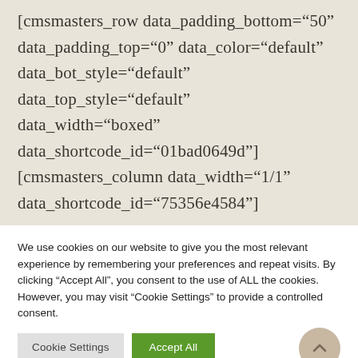[cmsmasters_row data_padding_bottom="50" data_padding_top="0" data_color="default" data_bot_style="default" data_top_style="default" data_width="boxed" data_shortcode_id="01bad0649d"] [cmsmasters_column data_width="1/1" data_shortcode_id="75356e4584"]
We use cookies on our website to give you the most relevant experience by remembering your preferences and repeat visits. By clicking "Accept All", you consent to the use of ALL the cookies. However, you may visit "Cookie Settings" to provide a controlled consent.